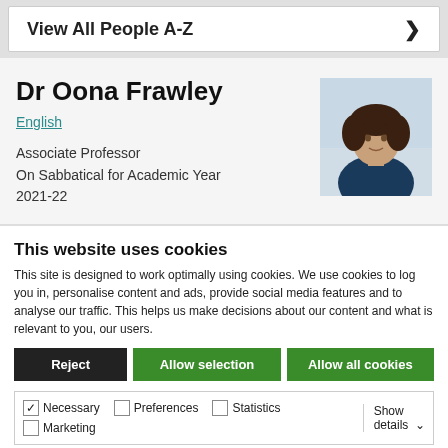View All People A-Z >
Dr Oona Frawley
English
Associate Professor
On Sabbatical for Academic Year
2021-22
[Figure (photo): Headshot photo of Dr Oona Frawley, a woman with dark curly hair wearing a dark blazer, photographed outdoors with a blurred background.]
This website uses cookies
This site is designed to work optimally using cookies. We use cookies to log you in, personalise content and ads, provide social media features and to analyse our traffic. This helps us make decisions about our content and what is relevant to you, our users.
Reject | Allow selection | Allow all cookies
Necessary  Preferences  Statistics  Marketing  Show details